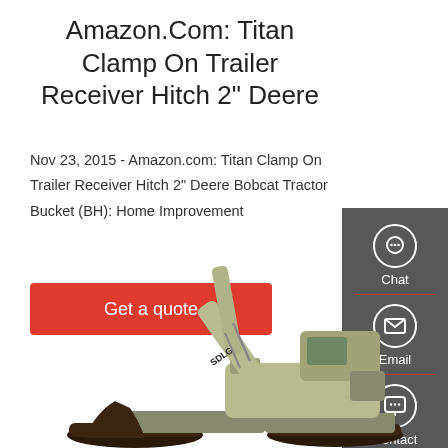Amazon.Com: Titan Clamp On Trailer Receiver Hitch 2" Deere
Nov 23, 2015 - Amazon.com: Titan Clamp On Trailer Receiver Hitch 2" Deere Bobcat Tractor Bucket (BH): Home Improvement
Get a quote
[Figure (illustration): Sidebar with Chat, Email, and Contact icons on dark grey background]
[Figure (photo): SDLG excavator with green boom arm and dark bucket against white background]